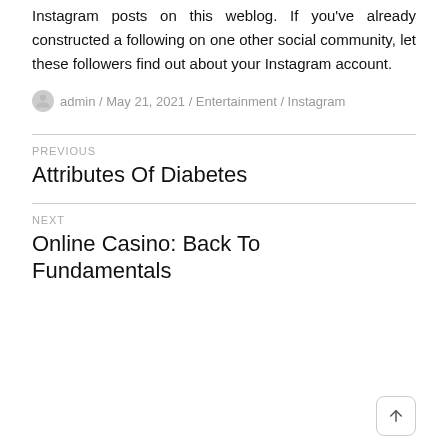Instagram posts on this weblog. If you've already constructed a following on one other social community, let these followers find out about your Instagram account.
admin / May 21, 2021 / Entertainment / Instagram
PREVIOUS
Attributes Of Diabetes
NEXT
Online Casino: Back To Fundamentals